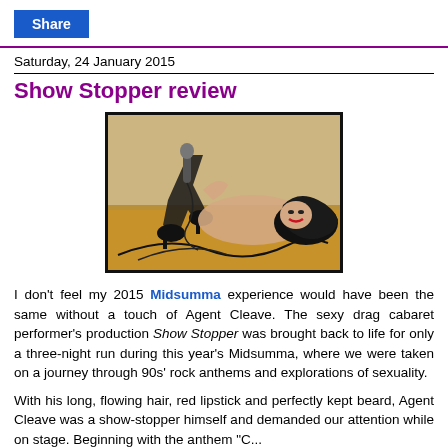Share
Saturday, 24 January 2015
Show Stopper review
[Figure (photo): A drag performer lying on a yellow/gold surface, wearing black high-heeled boots and black stockings, holding a microphone, with long dark curly hair and red lipstick.]
I don't feel my 2015 Midsumma experience would have been the same without a touch of Agent Cleave. The sexy drag cabaret performer's production Show Stopper was brought back to life for only a three-night run during this year's Midsumma, where we were taken on a journey through 90s' rock anthems and explorations of sexuality.
With his long, flowing hair, red lipstick and perfectly kept beard, Agent Cleave was a show-stopper himself and demanded our attention while on stage. Beginning with the anthem "C...